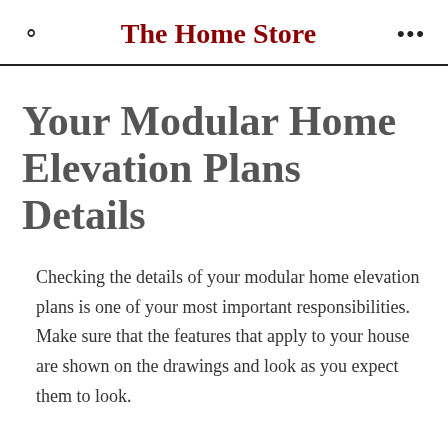The Home Store
Your Modular Home Elevation Plans Details
Checking the details of your modular home elevation plans is one of your most important responsibilities. Make sure that the features that apply to your house are shown on the drawings and look as you expect them to look.